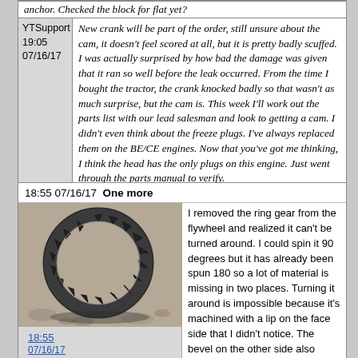anchor. Checked the block for flat yet?
YTSupport 19:05 07/16/17
New crank will be part of the order, still unsure about the cam, it doesn't feel scored at all, but it is pretty badly scuffed. I was actually surprised by how bad the damage was given that it ran so well before the leak occurred. From the time I bought the tractor, the crank knocked badly so that wasn't as much surprise, but the cam is. This week I'll work out the parts list with our lead salesman and look to getting a cam. I didn't even think about the freeze plugs. I've always replaced them on the BE/CE engines. Now that you've got me thinking, I think the head has the only plugs on this engine. Just went through the parts manual to verify.
18:55 07/16/17  One more
[Figure (photo): Photo of a ring gear, showing a circular gear with teeth visible along its inner edge, on a concrete/gravel surface]
18:55 07/16/17
I removed the ring gear from the flywheel and realized it can't be turned around. I could spin it 90 degrees but it has already been spun 180 so a lot of material is missing in two places. Turning it around is impossible because it's machined with a lip on the face side that I didn't notice. The bevel on the other side also mates with a bevel on the flywheel itself. It's not like an some other flywheels I've seen where the two sides aren't so